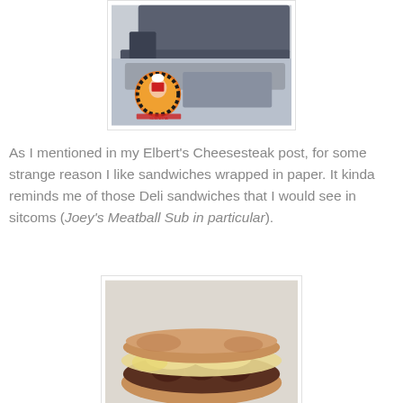[Figure (photo): A photo of a sandwich or food item in a paper/cardboard container, with a round restaurant logo/badge visible in the lower-left corner of the image. The logo features an orange and yellow circular design with a chef character.]
As I mentioned in my Elbert's Cheesesteak post, for some strange reason I like sandwiches wrapped in paper. It kinda reminds me of those Deli sandwiches that I would see in sitcoms (Joey's Meatball Sub in particular).
[Figure (photo): A close-up photo of a meatball sub sandwich on a hoagie roll, topped with melted cheese, on a light background.]